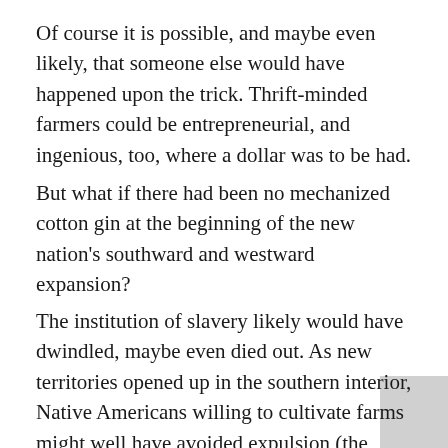Of course it is possible, and maybe even likely, that someone else would have happened upon the trick. Thrift-minded farmers could be entrepreneurial, and ingenious, too, where a dollar was to be had.
But what if there had been no mechanized cotton gin at the beginning of the new nation's southward and westward expansion?
The institution of slavery likely would have dwindled, maybe even died out. As new territories opened up in the southern interior, Native Americans willing to cultivate farms might well have avoided expulsion (the Cherokee were already adopting agriculture). It is even possible that southern society would have evolved as a multiethnic farming region, with Indians, Europeans, and emancipated African Americans living side by side.